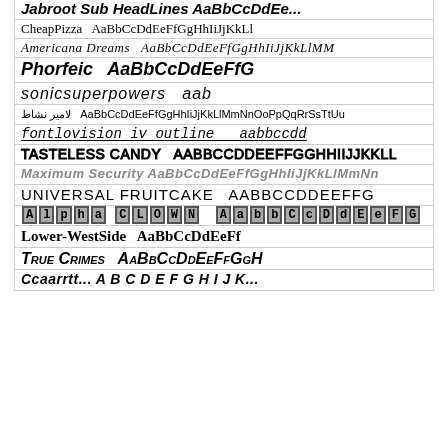[Figure (illustration): Font specimen sheet showing multiple decorative and display typefaces, each row showing a font name followed by sample alphabet characters in that font style.]
[font name cut off] AaBbCcDdEeFfGgHhIiJjKkLlMm... (italic bold)
CheapPizza AaBbCcDdEeFfGgHhIiJjKkLl (handwriting/script)
Americana Dreams AaBbCcDdEeFfGgHhIiJjKkLlMM (italic serif)
Phorfeic AaBbCcDdEeFfG (bold italic)
sonicsuperpowers aab (italic sans)
لامير نشاط AaBbCcDdEeFfGgHhIiJjKkLlMmNnOoPpQqRrSsTtUu (Arabic + Latin)
fontlovision iv outline aabbccdd (italic outline monospace)
TASTELESS CANDY AABBCCDDEEFFGGHHIIJJKKLL (bold caps)
Maximum Security AaBbCcDdEeFfGgHhIiJjKkLlMmNn (italic gray)
UNIVERSAL FRUITCAKE AABBCCDDEEFFG (sans caps)
Alpha CLOWN AaBbCcDdEeFfGg (pixel/block style)
Lower-WestSide AaBbCcDdEeFf (comic bold)
True Crimes AaBbCcDdEeFfGgH (bold italic small-caps)
[cut off row at bottom]